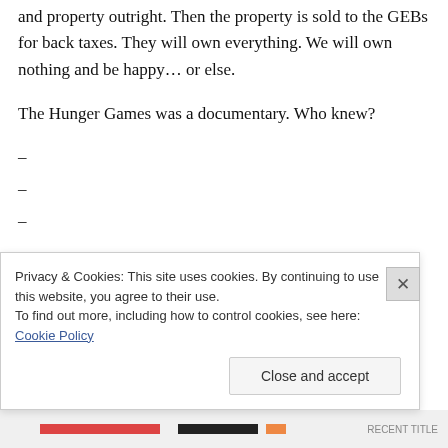and property outright. Then the property is sold to the GEBs for back taxes. They will own everything. We will own nothing and be happy… or else.
The Hunger Games was a documentary. Who knew?
–
–
–
There's more to be said and discussed about how the GEBs benefit from a trashed and
Privacy & Cookies: This site uses cookies. By continuing to use this website, you agree to their use.
To find out more, including how to control cookies, see here: Cookie Policy
Close and accept